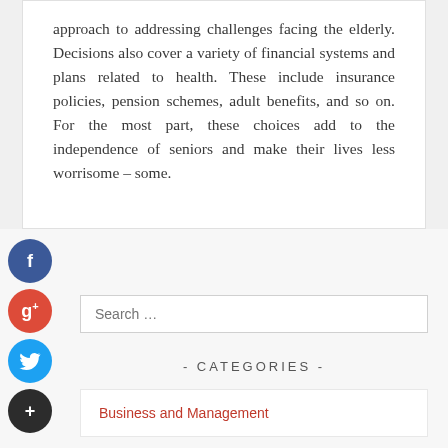approach to addressing challenges facing the elderly. Decisions also cover a variety of financial systems and plans related to health. These include insurance policies, pension schemes, adult benefits, and so on. For the most part, these choices add to the independence of seniors and make their lives less worrisome – some.
[Figure (infographic): Social media share icons: Facebook (blue circle with f), Google+ (red circle with g+), Twitter (blue circle with bird), Plus/more (dark circle with +)]
Search …
- CATEGORIES -
Business and Management